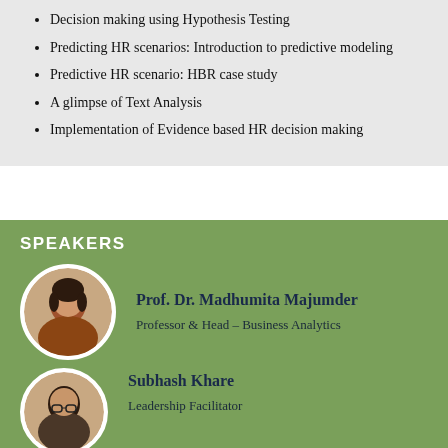Decision making using Hypothesis Testing
Predicting HR scenarios: Introduction to predictive modeling
Predictive HR scenario: HBR case study
A glimpse of Text Analysis
Implementation of Evidence based HR decision making
SPEAKERS
Prof. Dr. Madhumita Majumder
Professor & Head – Business Analytics
Subhash Khare
Leadership Facilitator